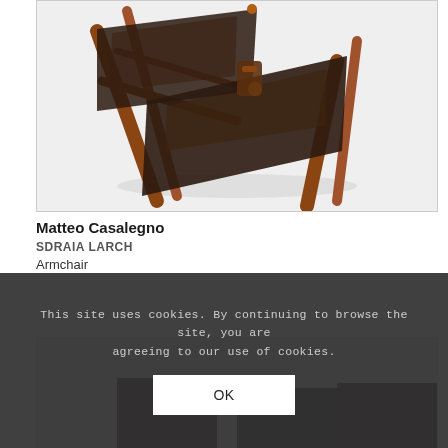[Figure (photo): A wooden lounge/armchair (Sdraia Larch) with dark brown leather seat and back, angular larch wood frame, photographed from above at an angle on a white background.]
Matteo Casalegno
SDRAIA LARCH
Armchair
[Figure (photo): Partial view of a second product image, mostly dark, visible at the bottom of the page behind the cookie overlay.]
This site uses cookies. By continuing to browse the site, you are agreeing to our use of cookies.
OK